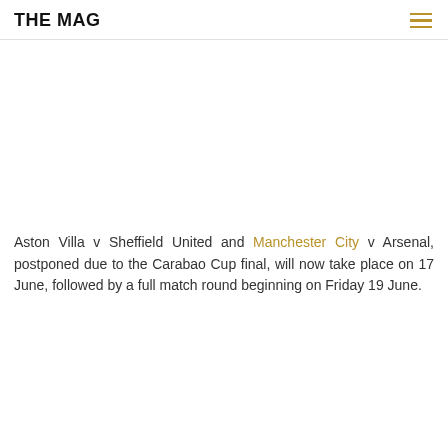THE MAG
Aston Villa v Sheffield United and Manchester City v Arsenal, postponed due to the Carabao Cup final, will now take place on 17 June, followed by a full match round beginning on Friday 19 June.